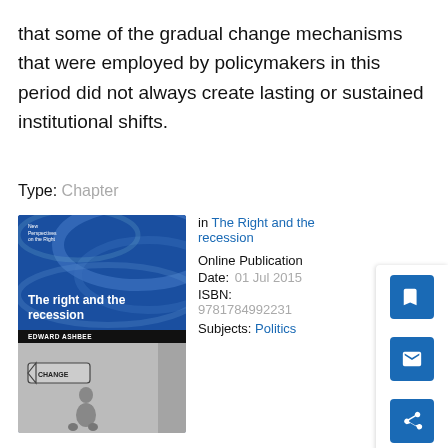that some of the gradual change mechanisms that were employed by policymakers in this period did not always create lasting or sustained institutional shifts.
Type: Chapter
[Figure (illustration): Book cover of 'The right and the recession' by Edward Ashbee. Blue cover with swirling light design, series title 'New Perspectives on the Right' at top, bold white title text, black author bar, and a black and white photo of a person sitting on floor next to a 'CHANGE' directional sign.]
in The Right and the recession
Online Publication Date: 01 Jul 2015
ISBN: 9781784992231
Subjects: Politics